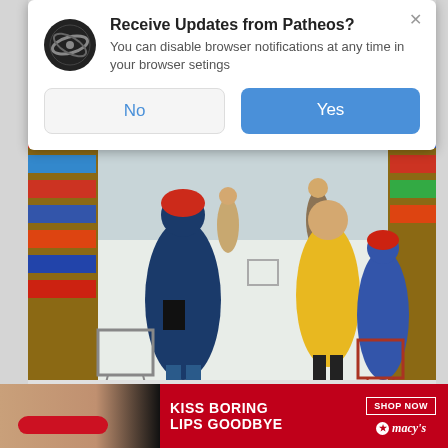[Figure (screenshot): Browser push notification popup from Patheos with icon, title 'Receive Updates from Patheos?', body text, and No/Yes buttons]
[Figure (photo): People shopping in a grocery store / Walmart, shoppers with carts in store aisles]
$900 Grocery Stimulus
adicaroplano.com | Sponsored
[Figure (screenshot): Macy's advertisement banner: 'KISS BORING LIPS GOODBYE' with SHOP NOW button and Macy's logo with star, model with red lips]